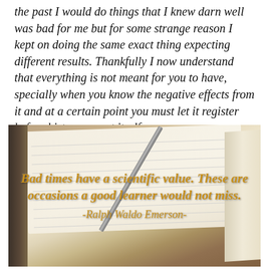the past I would do things that I knew darn well was bad for me but for some strange reason I kept on doing the same exact thing expecting different results. Thankfully I now understand that everything is not meant for you to have, specially when you know the negative effects from it and at a certain point you must let it register before history repeat itself.
[Figure (photo): A close-up photo of an open notebook with a pen resting on it, overlaid with an italic bold quote in golden-brown text: 'Bad times have a scientific value. These are occasions a good learner would not miss. -Ralph Waldo Emerson-']